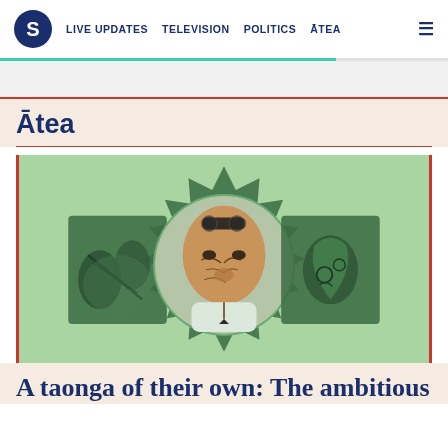S | LIVE UPDATES  TELEVISION  POLITICS  ĀTEA  ☰
Ātea
[Figure (illustration): Decorative article image: light green background with a dark green spiky starburst/sunburst shape in the center. Inside are three circular/rectangular photo cutouts — left shows tattooing hands, center shows a Māori man with tā moko facial tattoo and sunglasses on head, right shows carved greenstone/pounamu ornament. All photos are tinted green.]
A taonga of their own: The ambitious